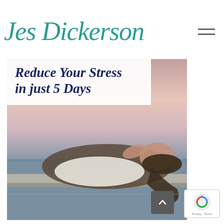Jes Dickerson
[Figure (photo): Woman in white top lying back on a dock railing with eyes closed, relaxed expression, against a pink/purple sunset sky over water. Overlaid text reads 'Reduce Your Stress in just 5 Days']
Privacy · Terms